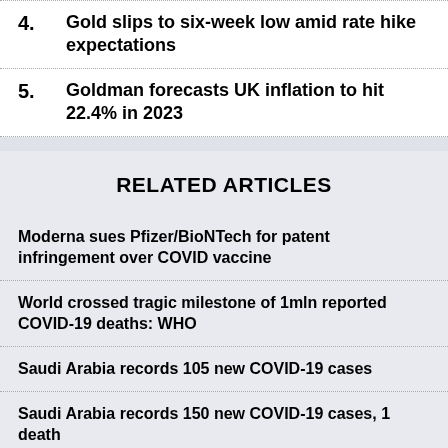4. Gold slips to six-week low amid rate hike expectations
5. Goldman forecasts UK inflation to hit 22.4% in 2023
RELATED ARTICLES
Moderna sues Pfizer/BioNTech for patent infringement over COVID vaccine
World crossed tragic milestone of 1mln reported COVID-19 deaths: WHO
Saudi Arabia records 105 new COVID-19 cases
Saudi Arabia records 150 new COVID-19 cases, 1 death